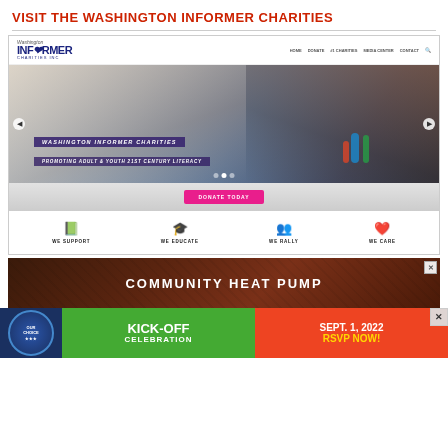VISIT THE WASHINGTON INFORMER CHARITIES
[Figure (screenshot): Screenshot of Washington Informer Charities website homepage showing navigation bar with logo, hero image of children doing science experiments with text overlays 'WASHINGTON INFORMER CHARITIES' and 'PROMOTING ADULT & YOUTH 21ST CENTURY LITERACY', a DONATE TODAY button, and four icon sections: WE SUPPORT, WE EDUCATE, WE RALLY, WE CARE]
[Figure (screenshot): Advertisement banner showing 'COMMUNITY HEAT PUMP' text on a dark red/brown background with a close button]
[Figure (screenshot): Advertisement banner with three sections: left dark blue circle badge, middle green section with 'KICK-OFF CELEBRATION', right red section with 'SEPT. 1, 2022' and 'RSVP NOW!']